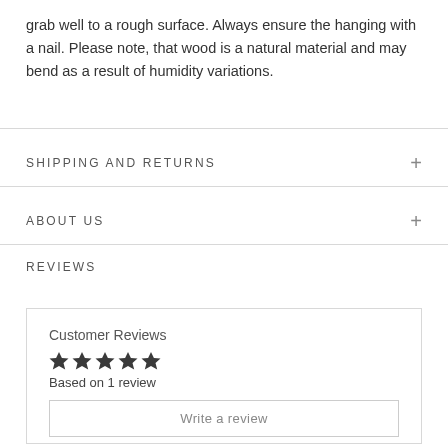grab well to a rough surface. Always ensure the hanging with a nail. Please note, that wood is a natural material and may bend as a result of humidity variations.
SHIPPING AND RETURNS
ABOUT US
REVIEWS
Customer Reviews
★★★★★
Based on 1 review
Write a review